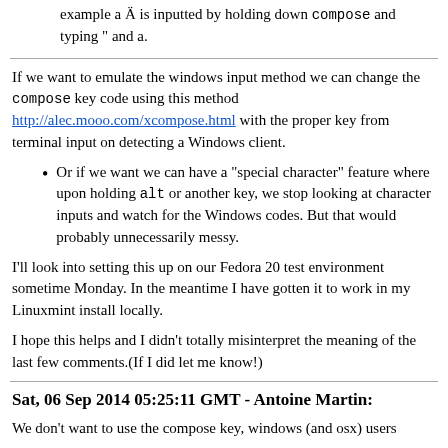example a Ä is inputted by holding down compose and typing " and a.
If we want to emulate the windows input method we can change the compose key code using this method http://alec.mooo.com/xcompose.html with the proper key from terminal input on detecting a Windows client.
Or if we want we can have a "special character" feature where upon holding alt or another key, we stop looking at character inputs and watch for the Windows codes. But that would probably unnecessarily messy.
I'll look into setting this up on our Fedora 20 test environment sometime Monday. In the meantime I have gotten it to work in my Linuxmint install locally.
I hope this helps and I didn't totally misinterpret the meaning of the last few comments.(If I did let me know!)
Sat, 06 Sep 2014 05:25:11 GMT - Antoine Martin:
We don't want to use the compose key, windows (and osx) users